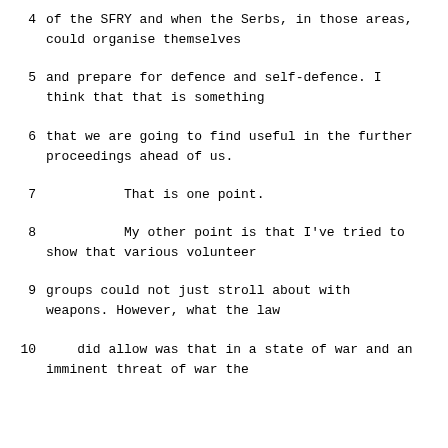4    of the SFRY and when the Serbs, in those areas, could organise themselves
5    and prepare for defence and self-defence.  I think that that is something
6    that we are going to find useful in the further proceedings ahead of us.
7              That is one point.
8              My other point is that I've tried to show that various volunteer
9    groups could not just stroll about with weapons.  However, what the law
10    did allow was that in a state of war and an imminent threat of war the